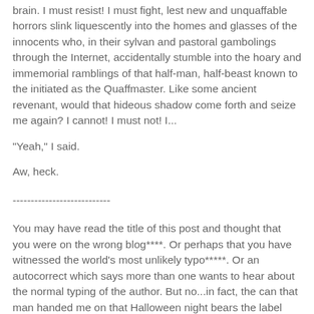brain. I must resist! I must fight, lest new and unquaffable horrors slink liquescently into the homes and glasses of the innocents who, in their sylvan and pastoral gambolings through the Internet, accidentally stumble into the hoary and immemorial ramblings of that half-man, half-beast known to the initiated as the Quaffmaster. Like some ancient revenant, would that hideous shadow come forth and seize me again? I cannot! I must not! I...
"Yeah," I said.
Aw, heck.
---------------------------
You may have read the title of this post and thought that you were on the wrong blog****. Or perhaps that you have witnessed the world's most unlikely typo*****. Or an autocorrect which says more than one wants to hear about the normal typing of the author. But no...in fact, the can that man handed me on that Halloween night bears the label "Chicken Partner". And a subtitle which, and I would not